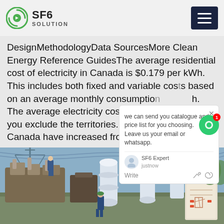SF6 SOLUTION
DesignMethodologyData SourcesMore Clean Energy Reference GuidesThe average residential cost of electricity in Canada is $0.179 per kWh. This includes both fixed and variable costs based on an average monthly consumption of kWh. The average electricity cost decreases if you exclude the territories. Electricity Canada have increased from $...
[Figure (screenshot): Chat popup overlay showing 'we can send you catalogue and price list for you choosing. Leave us your email or whatsapp.' with SF6 Expert avatar, justnow timestamp, Write field with thumb and paperclip icons. Green chat circle button with badge '1' visible.]
[Figure (photo): Outdoor electrical substation photo showing large transformers and electrical equipment with workers in blue uniforms and helmets working on the equipment. Power transmission lines visible in background.]